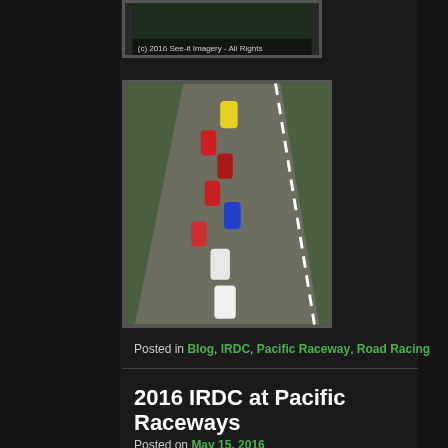[Figure (photo): Photo with copyright text: (c) 2016 See-it Imagery - All Rights]
[Figure (photo): Aerial photograph of multiple race cars on a track at Pacific Raceway, cars in red, yellow, blue, and white colors]
Posted in Blog, IRDC, Pacific Raceway, Road Racing
2016 IRDC at Pacific Raceways
Posted on May 15, 2016
[Figure (photo): Partial photo visible at bottom, showing green trees/foliage]